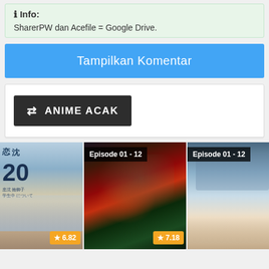ℹ Info:
SharerPW dan Acefile = Google Drive.
Tampilkan Komentar
ANIME ACAK
[Figure (screenshot): Three anime thumbnail images side by side. Left: partial anime image with Japanese text and characters, rating badge 6.82. Middle: Episode 01 - 12 badge, anime with witch/fantasy characters, rating 7.18. Right: Episode 01 - 12 badge, anime with girl characters in residential setting.]